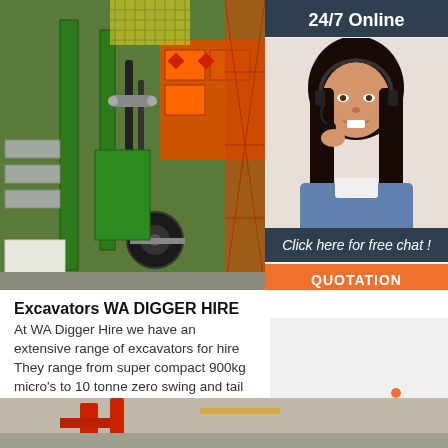[Figure (photo): Green excavator machinery with hydraulic hoses and wheel, with orange crates in background]
24/7 Online
[Figure (photo): Customer service woman with headset smiling]
Click here for free chat !
QUOTATION
Excavators WA DIGGER HIRE
At WA Digger Hire we have an extensive range of excavators for hire They range from super compact 900kg micro's to 10 tonne zero swing and tail units.
Get Price
[Figure (illustration): TOP button with orange dot triangle icon above orange text TOP]
[Figure (photo): Bottom partial photo showing red machinery]